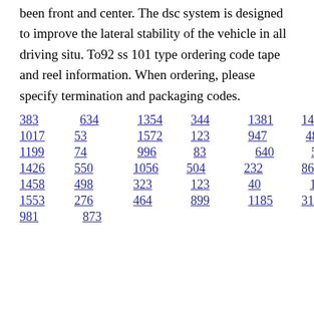been front and center. The dsc system is designed to improve the lateral stability of the vehicle in all driving situ. To92 ss 101 type ordering code tape and reel information. When ordering, please specify termination and packaging codes.
383   634   1354   344   1381   1423
1017   53   1572   123   947   480
1199   74   996   83   640   584   1146
1426   550   1056   504   232   860
1458   498   323   123   40   1396
1553   276   464   899   1185   319
981   873